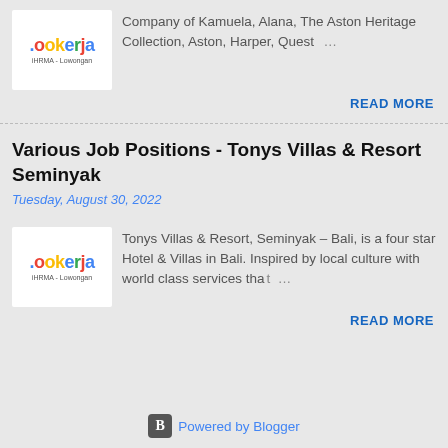[Figure (logo): Lookerja iHRMA - Lowongan logo]
Company of Kamuela, Alana, The Aston Heritage Collection, Aston, Harper, Quest ...
READ MORE
Various Job Positions - Tonys Villas & Resort Seminyak
Tuesday, August 30, 2022
[Figure (logo): Lookerja iHRMA - Lowongan logo]
Tonys Villas & Resort, Seminyak – Bali, is a four star Hotel & Villas in Bali. Inspired by local culture with world class services that ...
READ MORE
Powered by Blogger